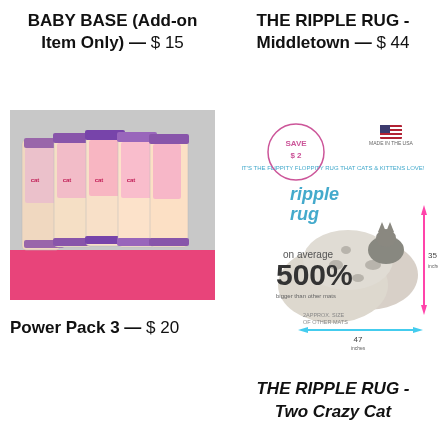BABY BASE (Add-on Item Only) — $ 15
THE RIPPLE RUG - Middletown — $ 44
[Figure (photo): Multiple pink/floral cat food/treat pouches standing up against a pink background on a textured surface]
[Figure (photo): Ripple Rug product packaging showing a large grey felt cat play mat with holes, a cat on top, and dimension markings of 35 inches height and 47 inches width, with a 'SAVE $2' badge and 'on average 500% bigger than other mats' text]
Power Pack 3 — $ 20
THE RIPPLE RUG - Two Crazy Cat